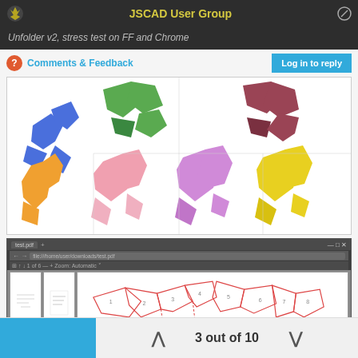JSCAD User Group
Unfolder v2, stress test on FF and Chrome
Comments & Feedback
Log in to reply
[Figure (illustration): Grid of colorful unfolded 3D polygon shapes: blue, green, dark red/mauve, orange, pink, lavender/purple, yellow shapes arranged in two rows]
[Figure (screenshot): Browser screenshot showing a PDF viewer with an unfolded 3D net diagram rendered in red/pink lines on white background, with PDF thumbnail panels on the left]
3 out of 10